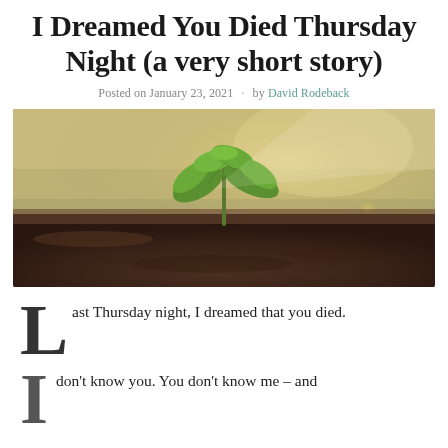I Dreamed You Died Thursday Night (a very short story)
Posted on January 23, 2021 · by David Rodeback
[Figure (photo): A young green seedling sprouting from dark soil, with a warm bokeh background]
Last Thursday night, I dreamed that you died.
I don't know you. You don't know me – and